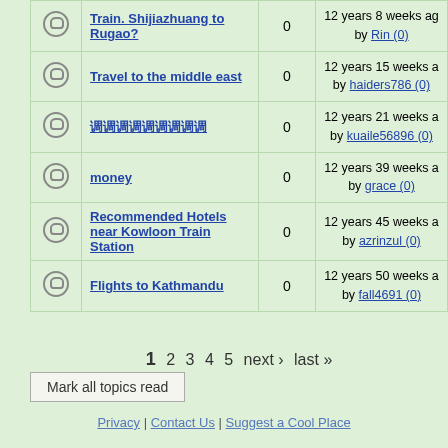|  | Topic | Replies | Last Post |
| --- | --- | --- | --- |
| [icon] | Train. Shijiazhuang to Rugao? | 0 | 12 years 8 weeks ago by Rin (0) |
| [icon] | Travel to the middle east | 0 | 12 years 15 weeks ago by haiders786 (0) |
| [icon] | 调调调调调调调调调 | 0 | 12 years 21 weeks ago by kuaile56896 (0) |
| [icon] | money | 0 | 12 years 39 weeks ago by grace (0) |
| [icon] | Recommended Hotels near Kowloon Train Station | 0 | 12 years 45 weeks ago by azrinzul (0) |
| [icon] | Flights to Kathmandu | 0 | 12 years 50 weeks ago by fall4691 (0) |
1 2 3 4 5 next › last »
Mark all topics read
Privacy | Contact Us | Suggest a Cool Place